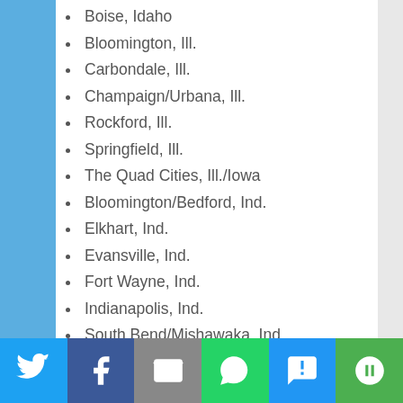Boise, Idaho
Bloomington, Ill.
Carbondale, Ill.
Champaign/Urbana, Ill.
Rockford, Ill.
Springfield, Ill.
The Quad Cities, Ill./Iowa
Bloomington/Bedford, Ind.
Elkhart, Ind.
Evansville, Ind.
Fort Wayne, Ind.
Indianapolis, Ind.
South Bend/Mishawaka, Ind.
Terre Haute, Ind.
We use cookies to ensure that we give you the best experience on our website. If you continue to use this site we will assume that you are happy with it.